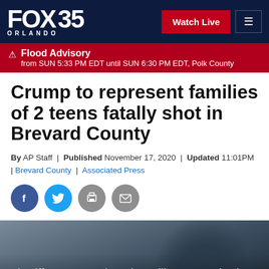FOX 35 ORLANDO | Watch Live
⚠ Flood Advisory from SUN 5:33 PM EDT until SUN 6:30 PM EDT, Polk County
Crump to represent families of 2 teens fatally shot in Brevard County
By AP Staff | Published November 17, 2020 | Updated 11:01PM | Brevard County | Associated Press
[Figure (other): Social sharing icons: Facebook, Twitter, Print, Email]
[Figure (photo): Sheriff Ivey says deputies will not wear body cameras — image of a figure in dark silhouette]